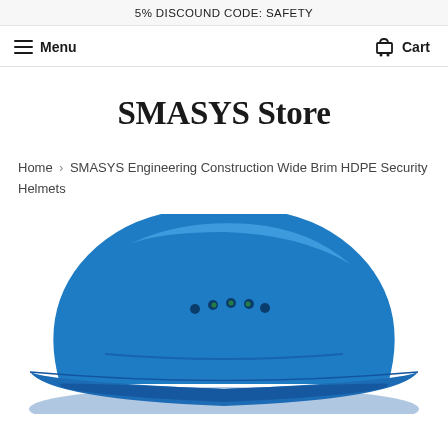5% DISCOUND CODE: SAFETY
Menu
Cart
SMASYS Store
Home › SMASYS Engineering Construction Wide Brim HDPE Security Helmets
[Figure (photo): Blue HDPE wide brim construction security helmet viewed from above/side angle, showing ventilation holes on top]